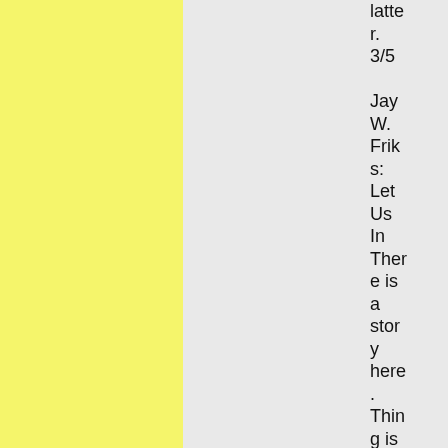latter. 3/5

Jay W. Friks: Let Us In There is a story here.

Thing is in, thing is